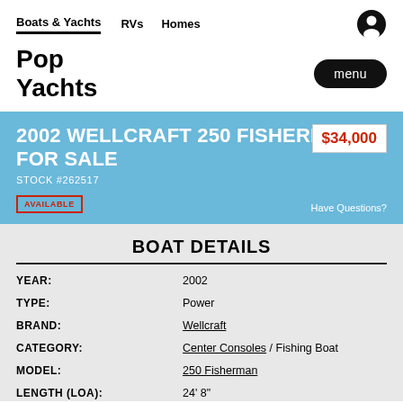Boats & Yachts  RVs  Homes
Pop Yachts
2002 WELLCRAFT 250 FISHERMAN FOR SALE
STOCK #262517
$34,000
AVAILABLE
Have Questions?
BOAT DETAILS
| Field | Value |
| --- | --- |
| YEAR: | 2002 |
| TYPE: | Power |
| BRAND: | Wellcraft |
| CATEGORY: | Center Consoles / Fishing Boat |
| MODEL: | 250 Fisherman |
| LENGTH (LOA): | 24' 8" |